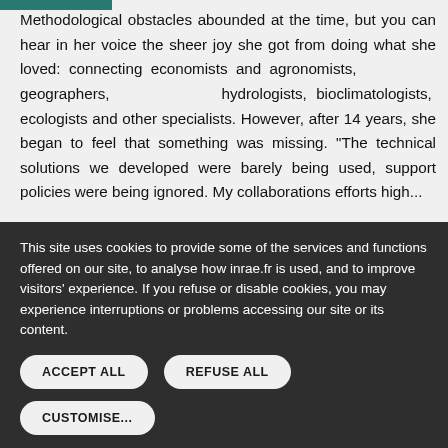Methodological obstacles abounded at the time, but you can hear in her voice the sheer joy she got from doing what she loved: connecting economists and agronomists, geographers, hydrologists, bioclimatologists, ecologists and other specialists. However, after 14 years, she began to feel that something was missing. "The technical solutions we developed were barely being used, support policies were being ignored. My collaborations efforts high...
This site uses cookies to provide some of the services and functions offered on our site, to analyse how inrae.fr is used, and to improve visitors' experience. If you refuse or disable cookies, you may experience interruptions or problems accessing our site or its content.
ACCEPT ALL
REFUSE ALL
CUSTOMISE...